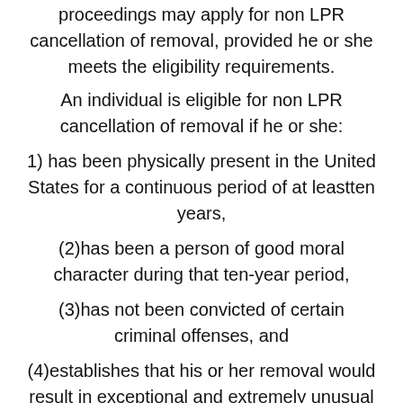proceedings may apply for non LPR cancellation of removal, provided he or she meets the eligibility requirements.
An individual is eligible for non LPR cancellation of removal if he or she:
1) has been physically present in the United States for a continuous period of at leastten years,
(2)has been a person of good moral character during that ten-year period,
(3)has not been convicted of certain criminal offenses, and
(4)establishes that his or her removal would result in exceptional and extremely unusual hardship to his or her permanent resident or U.S. citizen